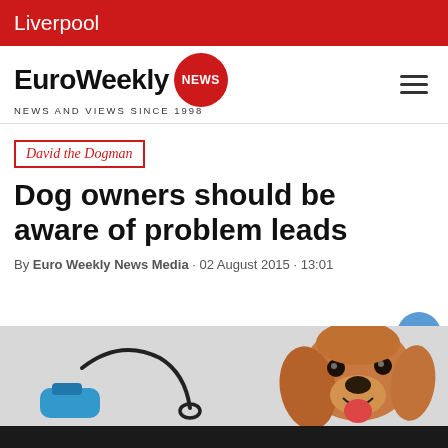Liverpool
[Figure (logo): EuroWeekly NEWS logo with red circle badge and tagline NEWS AND VIEWS SINCE 1998]
David the Dogman
Dog owners should be aware of problem leads
By Euro Weekly News Media · 02 August 2015 · 13:01
[Figure (photo): Photo of a dog lead/leash on the left and a Cocker Spaniel dog on the right, partially cropped at bottom of page]